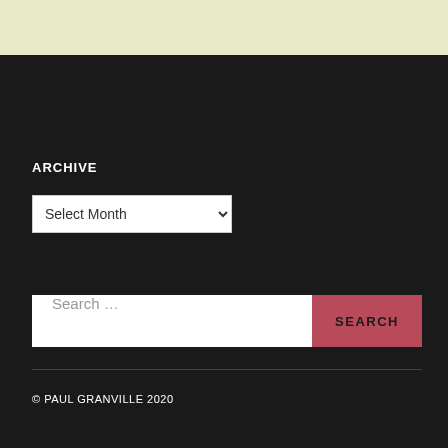[Figure (screenshot): Top banner area with light yellow-green background]
ARCHIVE
[Figure (screenshot): Select Month dropdown control]
[Figure (screenshot): Search bar with text input 'Search ...' and SEARCH button]
© PAUL GRANVILLE 2020